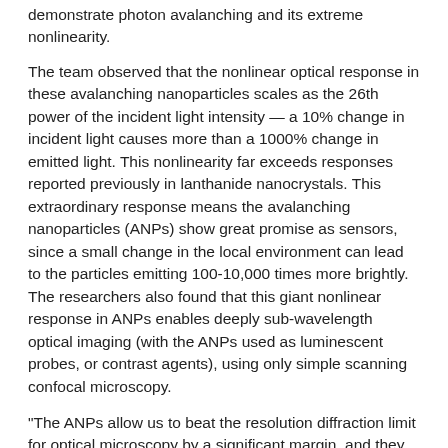demonstrate photon avalanching and its extreme nonlinearity.
The team observed that the nonlinear optical response in these avalanching nanoparticles scales as the 26th power of the incident light intensity — a 10% change in incident light causes more than a 1000% change in emitted light. This nonlinearity far exceeds responses reported previously in lanthanide nanocrystals. This extraordinary response means the avalanching nanoparticles (ANPs) show great promise as sensors, since a small change in the local environment can lead to the particles emitting 100-10,000 times more brightly. The researchers also found that this giant nonlinear response in ANPs enables deeply sub-wavelength optical imaging (with the ANPs used as luminescent probes, or contrast agents), using only simple scanning confocal microscopy.
"The ANPs allow us to beat the resolution diffraction limit for optical microscopy by a significant margin, and they do it essentially for free, due to their steeply nonlinear behavior," Schuck explains.
The study's lead author Changhwan Lee, who is a PhD student